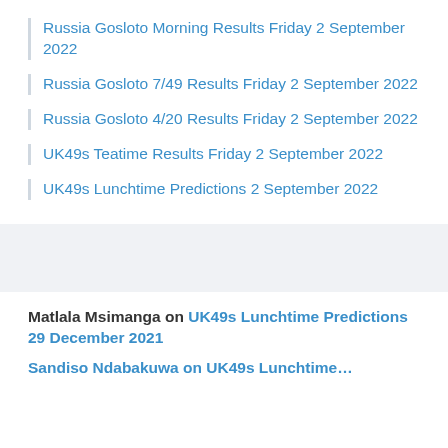Russia Gosloto Morning Results Friday 2 September 2022
Russia Gosloto 7/49 Results Friday 2 September 2022
Russia Gosloto 4/20 Results Friday 2 September 2022
UK49s Teatime Results Friday 2 September 2022
UK49s Lunchtime Predictions 2 September 2022
Matlala Msimanga on UK49s Lunchtime Predictions 29 December 2021
Sandiso Ndabakuwa on UK49s Lunchtime...